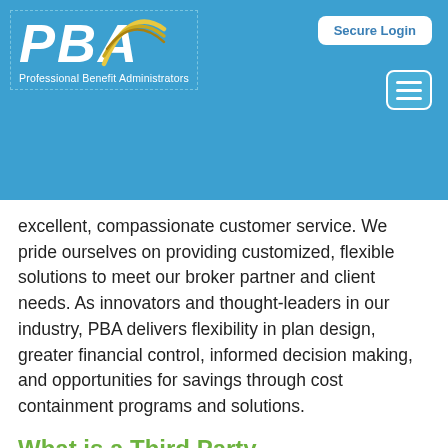[Figure (logo): PBA Professional Benefit Administrators logo with swoosh graphic on blue header background]
Secure Login
excellent, compassionate customer service. We pride ourselves on providing customized, flexible solutions to meet our broker partner and client needs. As innovators and thought-leaders in our industry, PBA delivers flexibility in plan design, greater financial control, informed decision making, and opportunities for savings through cost containment programs and solutions.
What is a Third Party Administrator?
A third party administrator concentrates on